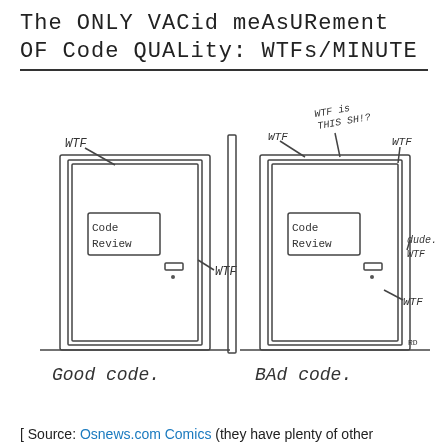The ONLY VACid meAsURement OF Code QUALity: WTFs/MINUTE
[Figure (illustration): Hand-drawn cartoon showing two doors labeled 'Code Review'. Left door has one 'WTF' label pointing to it and one 'WTF' on the side — labeled 'Good code.' below. Right door has multiple 'WTF', 'WTF is THIS SH!?', 'dude. WTF', and 'WTF' labels pointing to it — labeled 'BAd code.' below.]
[ Source: Osnews.com Comics (they have plenty of other